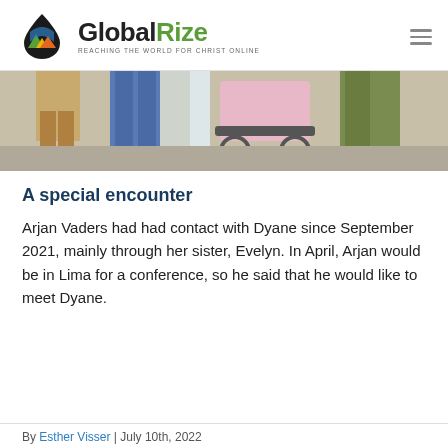GlobalRize — REACHING THE WORLD FOR CHRIST ONLINE
[Figure (photo): Cropped photo showing people standing, one person seated in a wheelchair, indoors with light background]
A special encounter
Arjan Vaders had had contact with Dyane since September 2021, mainly through her sister, Evelyn. In April, Arjan would be in Lima for a conference, so he said that he would like to meet Dyane.
By Esther Visser | July 10th, 2022